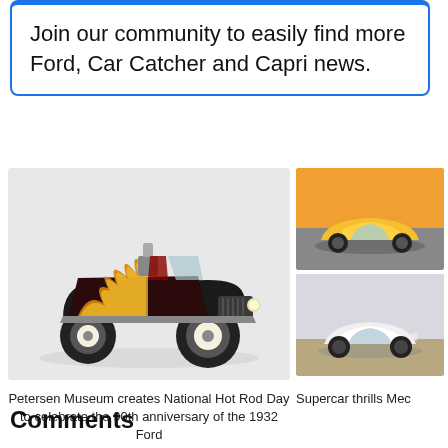Join our community to easily find more Ford, Car Catcher and Capri news.
[Figure (photo): Classic black hot rod with flame paint job and whitewall tires on grey background]
Petersen Museum creates National Hot Rod Day to celebrate the 90th anniversary of the 1932 Ford
[Figure (photo): Yellow sports car (Porsche) on road at sunset]
[Figure (photo): White Porsche 911 on sandy terrain]
Supercar thrills Mec
Comments